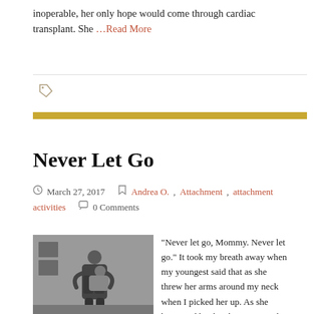inoperable, her only hope would come through cardiac transplant. She …Read More
[Figure (other): Tag icon (label/bookmark shape)]
Never Let Go
March 27, 2017   Andrea O., Attachment, attachment activities   0 Comments
[Figure (photo): Black and white photo of an adult holding a young child]
"Never let go, Mommy. Never let go." It took my breath away when my youngest said that as she threw her arms around my neck when I picked her up. As she burrowed her head into my neck, she kept whispering it with her